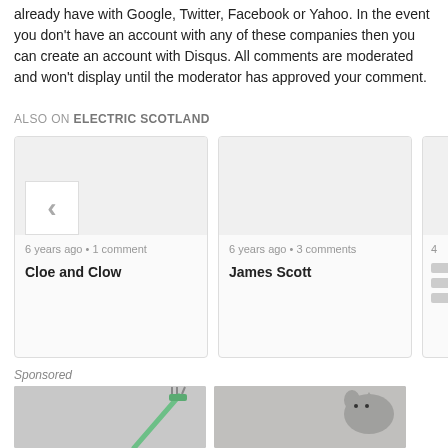already have with Google, Twitter, Facebook or Yahoo. In the event you don't have an account with any of these companies then you can create an account with Disqus. All comments are moderated and won't display until the moderator has approved your comment.
ALSO ON ELECTRIC SCOTLAND
6 years ago • 1 comment
Cloe and Clow
6 years ago • 3 comments
James Scott
Sponsored